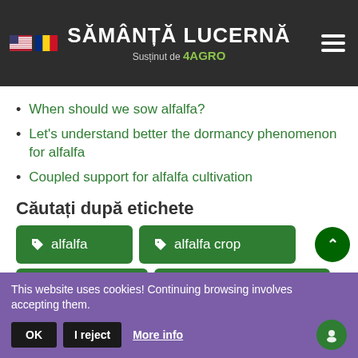SĂMÂNȚĂ LUCERNĂ Susținut de 4AGRO
When should we sow alfalfa?
Let's understand better the dormancy phenomenon for alfalfa
Coupled support for alfalfa cultivation
Căutați după etichete
alfalfa
alfalfa crop
This website uses cookies! Continuing browsing involves accepting them.
OK | I reject | More info